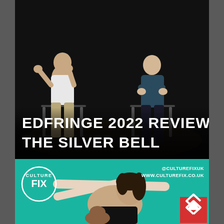[Figure (photo): Two people seated on chairs in a dark theatrical setting — one in a white t-shirt and khaki trousers on the left, one in a dark blue shirt on the right. Dark stage background.]
EDFRINGE 2022 REVIEW: THE SILVER BELL
[Figure (photo): Culture Fix branded banner with teal/green background showing a performer (young woman with dark hair) posing dramatically with arms extended. Culture Fix logo circle on the left, social media handles top right, red scroll-up button bottom right.]
@CULTUREFIXUK
WWW.CULTUREFIX.CO.UK